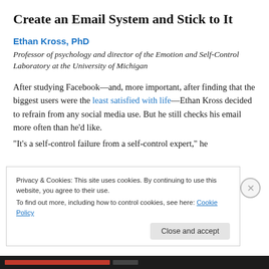Create an Email System and Stick to It
Ethan Kross, PhD
Professor of psychology and director of the Emotion and Self-Control Laboratory at the University of Michigan
After studying Facebook—and, more important, after finding that the biggest users were the least satisfied with life—Ethan Kross decided to refrain from any social media use. But he still checks his email more often than he'd like.
“It’s a self-control failure from a self-control expert,” he
Privacy & Cookies: This site uses cookies. By continuing to use this website, you agree to their use.
To find out more, including how to control cookies, see here: Cookie Policy